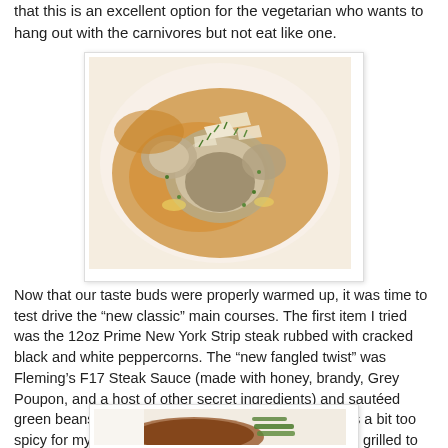that this is an excellent option for the vegetarian who wants to hang out with the carnivores but not eat like one.
[Figure (photo): A plate of large ravioli in a golden-orange cream sauce, topped with shaved cheese and chopped chives, on a white plate.]
Now that our taste buds were properly warmed up, it was time to test drive the “new classic” main courses. The first item I tried was the 12oz Prime New York Strip steak rubbed with cracked black and white peppercorns. The “new fangled twist” was Fleming’s F17 Steak Sauce (made with honey, brandy, Grey Poupon, and a host of other secret ingredients) and sautéed green beans that came with the steak. The sauce was a bit too spicy for my taste – but the steak itself was lovely and grilled to perfection.
[Figure (photo): A partially visible plate showing what appears to be a steak with green beans on a white plate.]